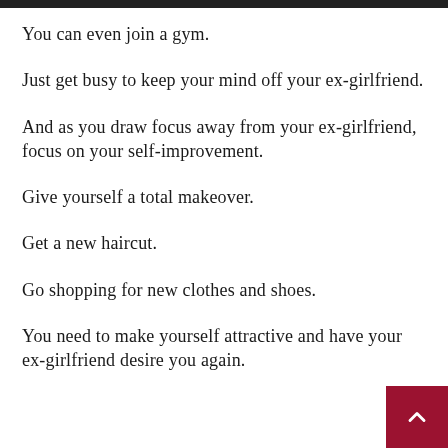You can even join a gym.
Just get busy to keep your mind off your ex-girlfriend.
And as you draw focus away from your ex-girlfriend, focus on your self-improvement.
Give yourself a total makeover.
Get a new haircut.
Go shopping for new clothes and shoes.
You need to make yourself attractive and have your ex-girlfriend desire you again.